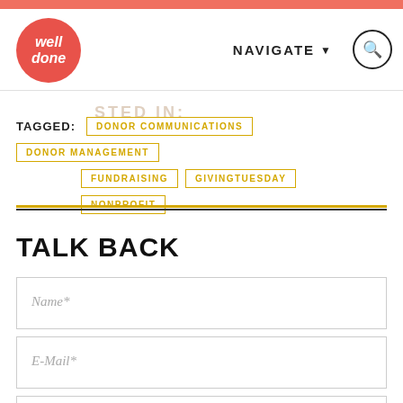NAVIGATE (search icon) - Well Done logo
TAGGED: DONOR COMMUNICATIONS  DONOR MANAGEMENT  FUNDRAISING  GIVINGTUESDAY  NONPROFIT
TALK BACK
Name*
E-Mail*